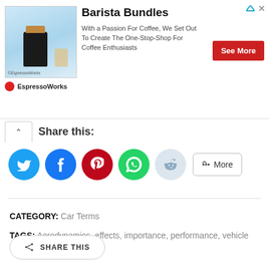[Figure (other): Advertisement banner for EspressoWorks/Barista Bundles showing coffee machine image, brand logo, description text, and See More button]
Share this:
[Figure (other): Social sharing buttons: Twitter (blue), Facebook (blue), Pinterest (red), WhatsApp (green), Reddit (light blue), and a More button]
CATEGORY: Car Terms
TAGS: Aerodynamics, effects, importance, performance, vehicle
SHARE THIS